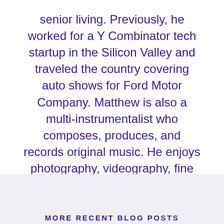senior living. Previously, he worked for a Y Combinator tech startup in the Silicon Valley and traveled the country covering auto shows for Ford Motor Company. Matthew is also a multi-instrumentalist who composes, produces, and records original music. He enjoys photography, videography, fine art, and cinema.
MORE RECENT BLOG POSTS